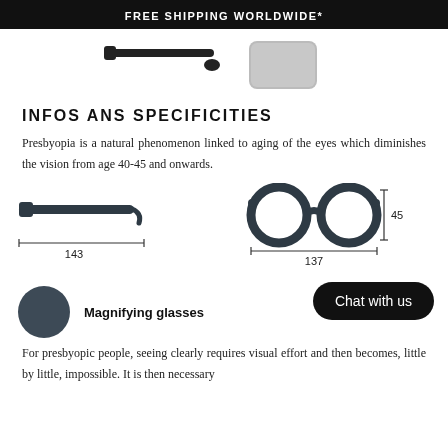FREE SHIPPING WORLDWIDE*
[Figure (photo): Partial view of dark-framed glasses and a grey glasses case on a white background]
INFOS ANS SPECIFICITIES
Presbyopia is a natural phenomenon linked to aging of the eyes which diminishes the vision from age 40-45 and onwards.
[Figure (engineering-diagram): Technical diagram of glasses showing side profile with measurement 143 and front view with measurements 137 wide and 45 tall]
Magnifying glasses
For presbyopic people, seeing clearly requires visual effort and then becomes, little by little, impossible. It is then necessary to...